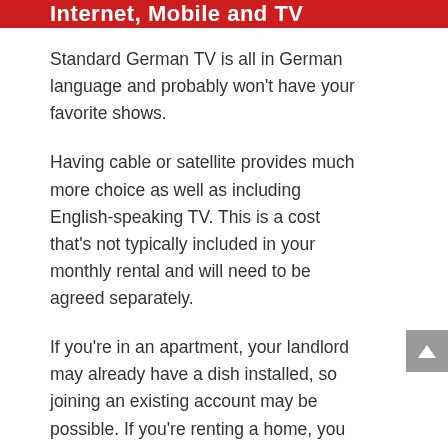Internet, Mobile and TV
Standard German TV is all in German language and probably won't have your favorite shows.
Having cable or satellite provides much more choice as well as including English-speaking TV. This is a cost that's not typically included in your monthly rental and will need to be agreed separately.
If you're in an apartment, your landlord may already have a dish installed, so joining an existing account may be possible. If you're renting a home, you will have to organize your own dish to be installed, but don't forget to ask your landlord for permission.